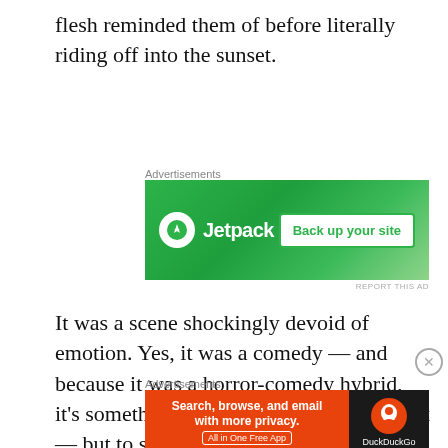flesh reminded them of before literally riding off into the sunset.
[Figure (screenshot): Jetpack advertisement banner with green background showing logo and 'Back up your site' button]
It was a scene shockingly devoid of emotion. Yes, it was a comedy — and because it was a horror-comedy hybrid, it's something of a dark comedy by default — but to so callously dispose of a main character like that was a terrible call by Phillips and his co-writer Scott Pourroy.
[Figure (screenshot): DuckDuckGo advertisement banner: 'Search, browse, and email with more privacy. All in One Free App']